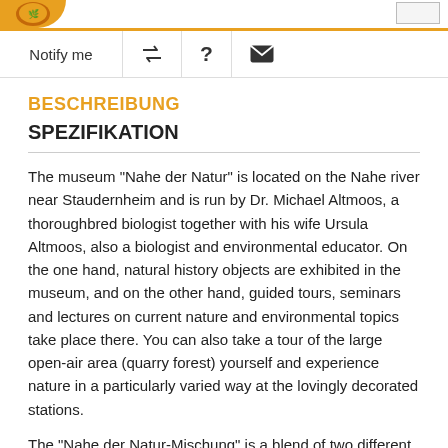BESCHREIBUNG
SPEZIFIKATION
The museum "Nahe der Natur" is located on the Nahe river near Staudernheim and is run by Dr. Michael Altmoos, a thoroughbred biologist together with his wife Ursula Altmoos, also a biologist and environmental educator. On the one hand, natural history objects are exhibited in the museum, and on the other hand, guided tours, seminars and lectures on current nature and environmental topics take place there. You can also take a tour of the large open-air area (quarry forest) yourself and experience nature in a particularly varied way at the lovingly decorated stations.
The "Nahe der Natur-Mischung" is a blend of two different organic